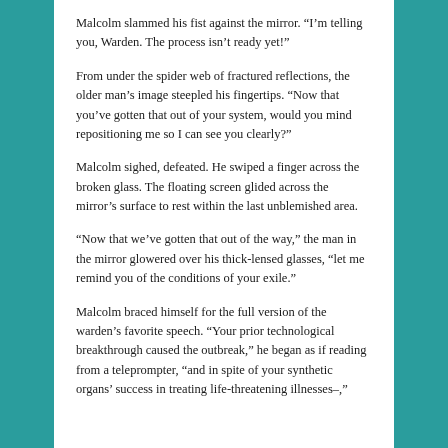Malcolm slammed his fist against the mirror. “I’m telling you, Warden. The process isn’t ready yet!”
From under the spider web of fractured reflections, the older man’s image steepled his fingertips. “Now that you’ve gotten that out of your system, would you mind repositioning me so I can see you clearly?”
Malcolm sighed, defeated. He swiped a finger across the broken glass. The floating screen glided across the mirror’s surface to rest within the last unblemished area.
“Now that we’ve gotten that out of the way,” the man in the mirror glowered over his thick-lensed glasses, “let me remind you of the conditions of your exile.”
Malcolm braced himself for the full version of the warden’s favorite speech. “Your prior technological breakthrough caused the outbreak,” he began as if reading from a teleprompter, “and in spite of your synthetic organs’ success in treating life-threatening illnesses–,”